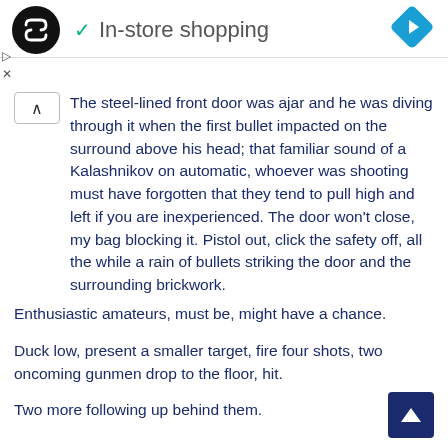In-store shopping
The steel-lined front door was ajar and he was diving through it when the first bullet impacted on the surround above his head; that familiar sound of a Kalashnikov on automatic, whoever was shooting must have forgotten that they tend to pull high and left if you are inexperienced.  The door won't close, my bag blocking it.  Pistol out, click the safety off, all the while a rain of bullets striking the door and the surrounding brickwork.
Enthusiastic amateurs, must be, might have a chance.
Duck low, present a smaller target, fire four shots, two oncoming gunmen drop to the floor, hit.
Two more following up behind them.